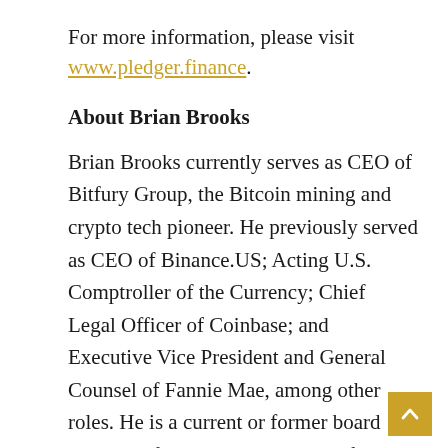For more information, please visit www.pledger.finance.
About Brian Brooks
Brian Brooks currently serves as CEO of Bitfury Group, the Bitcoin mining and crypto tech pioneer. He previously served as CEO of Binance.US; Acting U.S. Comptroller of the Currency; Chief Legal Officer of Coinbase; and Executive Vice President and General Counsel of Fannie Mae, among other roles. He is a current or former board member of Voyager Digital, Interfirst Mortgage, Spring Labs, Fannie Mae, and Avant, and an advisor to a number of fintech